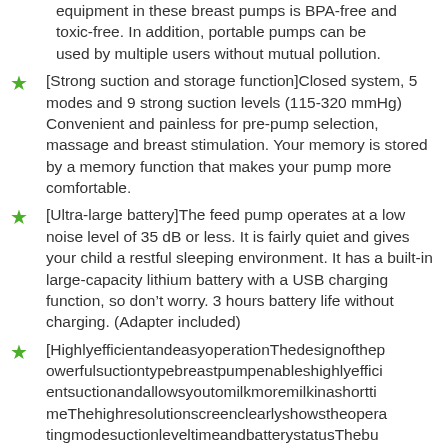equipment in these breast pumps is BPA-free and toxic-free. In addition, portable pumps can be used by multiple users without mutual pollution.
[Strong suction and storage function]Closed system, 5 modes and 9 strong suction levels (115-320 mmHg) Convenient and painless for pre-pump selection, massage and breast stimulation. Your memory is stored by a memory function that makes your pump more comfortable.
[Ultra-large battery]The feed pump operates at a low noise level of 35 dB or less. It is fairly quiet and gives your child a restful sleeping environment. It has a built-in large-capacity lithium battery with a USB charging function, so don’t worry. 3 hours battery life without charging. (Adapter included)
[HighlyefficientandeasyoperationThedesignofthepowerfulsuctiontypebreastpumpenableshighlyefficientsuctionandallowsyoutomilkmoremilkinashorttimeThehighresolutionscreenclearlyshowstheoperatingmodesuctionleveltimeandbatterystatusThebuttonsonthescreenareeasyto​use
[Easy to clean with multi-size flange]Chest flange